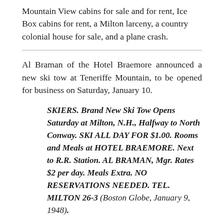Mountain View cabins for sale and for rent, Ice Box cabins for rent, a Milton larceny, a country colonial house for sale, and a plane crash.
Al Braman of the Hotel Braemore announced a new ski tow at Teneriffe Mountain, to be opened for business on Saturday, January 10.
SKIERS. Brand New Ski Tow Opens Saturday at Milton, N.H., Halfway to North Conway. SKI ALL DAY FOR $1.00. Rooms and Meals at HOTEL BRAEMORE. Next to R.R. Station. AL BRAMAN, Mgr. Rates $2 per day. Meals Extra. NO RESERVATIONS NEEDED. TEL. MILTON 26-3 (Boston Globe, January 9, 1948).